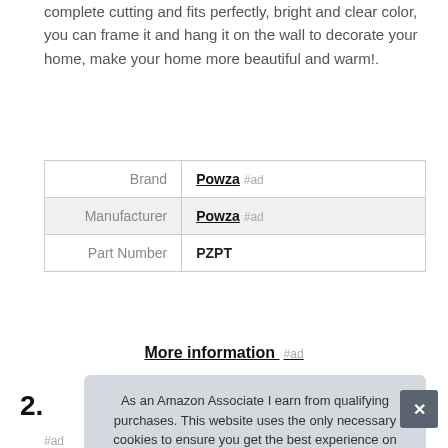complete cutting and fits perfectly, bright and clear color, you can frame it and hang it on the wall to decorate your home, make your home more beautiful and warm!.
|  |  |
| --- | --- |
| Brand | Powza #ad |
| Manufacturer | Powza #ad |
| Part Number | PZPT |
More information #ad
2.
As an Amazon Associate I earn from qualifying purchases. This website uses the only necessary cookies to ensure you get the best experience on our website. More information
#ad